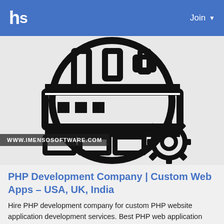hs  Join
[Figure (illustration): Black and white icon illustration of an industrial factory/printer machine with gears, inside a circular border. Watermark text: WWW.IMENSOSOFTWARE.COM]
PHP Development Company | Custom Web Apps – USA, UK, India
Hire PHP development company for custom PHP website application development services. Best PHP web application development services at a lowest cost. Get a free quote to outsource your project.